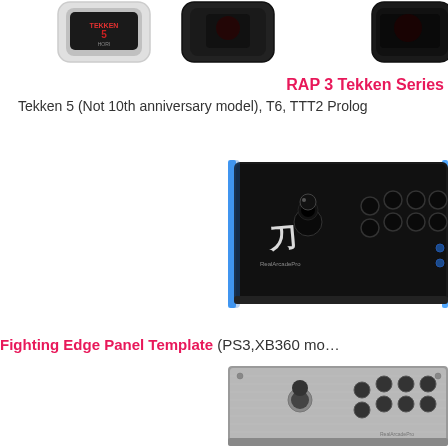[Figure (photo): Three arcade sticks with Tekken artwork (RAP 3 Tekken series) shown from above, partially cropped at top]
RAP 3 Tekken Series
Tekken 5 (Not 10th anniversary model), T6, TTT2 Prolo…
[Figure (photo): Fighting Edge arcade stick in black with blue LED accent lighting, top-down perspective view]
Fighting Edge Panel Template (PS3,XB360 mo…
[Figure (photo): Fighting Edge arcade stick in silver/grey brushed metal finish, top-down perspective view]